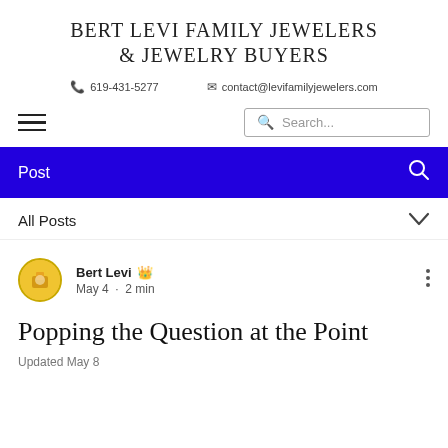BERT LEVI FAMILY JEWELERS & JEWELRY BUYERS
📞 619-431-5277   ✉ contact@levifamilyjewelers.com
[Figure (screenshot): Navigation bar with hamburger menu and search box]
Post
All Posts
Bert Levi 👑
May 4 · 2 min
Popping the Question at the Point
Updated May 8